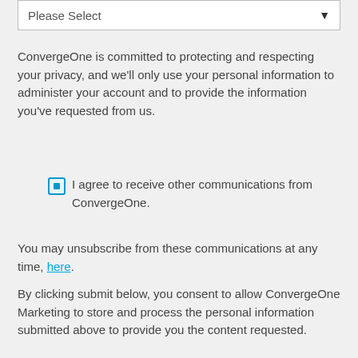[Figure (other): Dropdown select box with 'Please Select' placeholder text and a dropdown arrow]
ConvergeOne is committed to protecting and respecting your privacy, and we'll only use your personal information to administer your account and to provide the information you've requested from us.
I agree to receive other communications from ConvergeOne.
You may unsubscribe from these communications at any time, here.
By clicking submit below, you consent to allow ConvergeOne Marketing to store and process the personal information submitted above to provide you the content requested.
[Figure (other): Blue rounded rectangle SUBSCRIBE button]